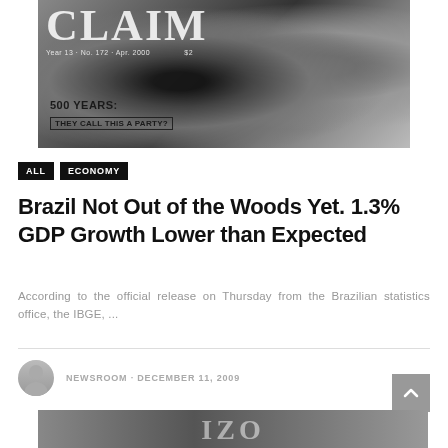[Figure (photo): Black and white magazine cover showing a close-up of a face with eye visible. Title reads 'CLAIM', subtitle '500 YEARS: THEY CALL THIS A PARTY?', publication info 'Year 13 · No. 172 · Apr. 2000 · $2']
ALL
ECONOMY
Brazil Not Out of the Woods Yet. 1.3% GDP Growth Lower than Expected
According to the official release on Thursday from the Brazilian statistics office, the IBGE, ...
NEWSROOM · DECEMBER 11, 2009
[Figure (photo): Partial black and white photograph visible at bottom of page, appears to show large lettering]